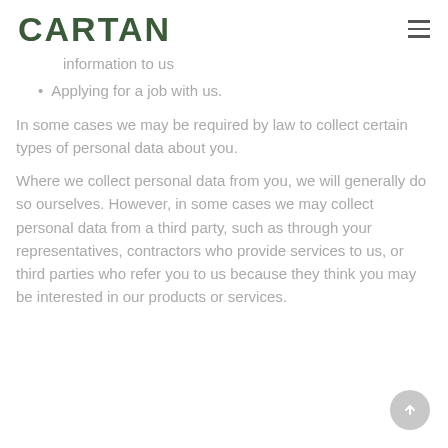CARTAN
information to us
Applying for a job with us.
In some cases we may be required by law to collect certain types of personal data about you.
Where we collect personal data from you, we will generally do so ourselves. However, in some cases we may collect personal data from a third party, such as through your representatives, contractors who provide services to us, or third parties who refer you to us because they think you may be interested in our products or services.